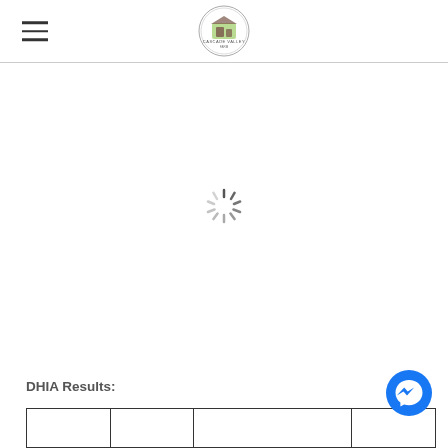Cascade Valley [logo]
[Figure (other): Loading spinner (animated circular loading indicator)]
DHIA Results: